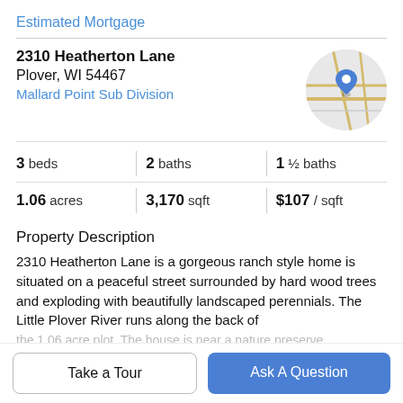Estimated Mortgage
2310 Heatherton Lane
Plover, WI 54467
Mallard Point Sub Division
[Figure (map): Circular map thumbnail showing street map with a blue location pin marker in center]
3 beds | 2 baths | 1 ½ baths
1.06 acres | 3,170 sqft | $107 / sqft
Property Description
2310 Heatherton Lane is a gorgeous ranch style home is situated on a peaceful street surrounded by hard wood trees and exploding with beautifully landscaped perennials. The Little Plover River runs along the back of the 1.06 acre plot. The house is near a nature preserve...
Take a Tour
Ask A Question